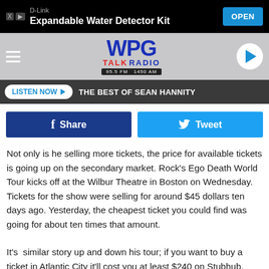[Figure (screenshot): D-Link advertisement banner showing 'Expandable Water Detector Kit' with an OPEN button]
[Figure (logo): WPG Talk Radio logo with hamburger menu and play button]
LISTEN NOW ▶  THE BEST OF SEAN HANNITY
[Figure (screenshot): Facebook Share and Twitter Tweet social sharing buttons]
Not only is he selling more tickets, the price for available tickets is going up on the secondary market. Rock's Ego Death World Tour kicks off at the Wilbur Theatre in Boston on Wednesday. Tickets for the show were selling for around $45 dollars ten days ago. Yesterday, the cheapest ticket you could find was going for about ten times that amount.
It's  similar story up and down his tour; if you want to buy a ticket in Atlantic City it'll cost you at least $240 on Stubhub.